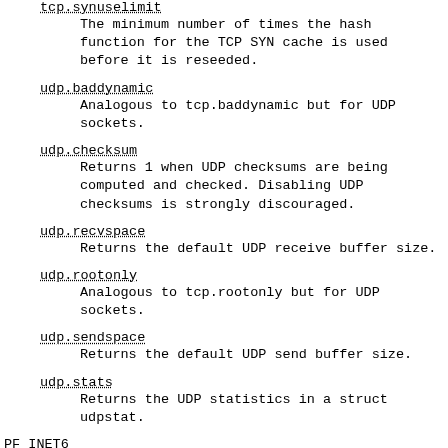tcp.synuselimit
The minimum number of times the hash function for the TCP SYN cache is used before it is reseeded.
udp.baddynamic
Analogous to tcp.baddynamic but for UDP sockets.
udp.checksum
Returns 1 when UDP checksums are being computed and checked. Disabling UDP checksums is strongly discouraged.
udp.recvspace
Returns the default UDP receive buffer size.
udp.rootonly
Analogous to tcp.rootonly but for UDP sockets.
udp.sendspace
Returns the default UDP send buffer size.
udp.stats
Returns the UDP statistics in a struct udpstat.
PF_INET6
Get or set various global information about IPv6